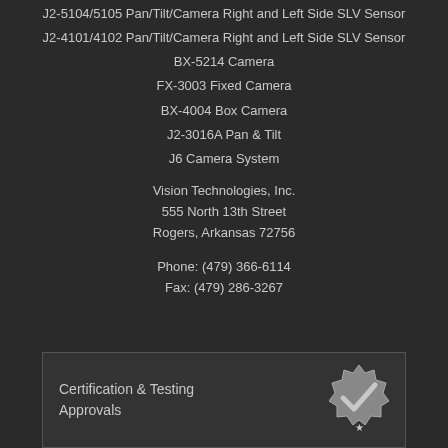J2-5104/5105 Pan/Tilt/Camera Right and Left Side SLV Sensor
J2-4101/4102 Pan/Tilt/Camera Right and Left Side SLV Sensor
BX-5214 Camera
FX-3003 Fixed Camera
BX-4004 Box Camera
J2-3016A Pan & Tilt
J6 Camera System
Vision Technologies, Inc.
555 North 13th Street
Rogers, Arkansas 72756
Phone: (479) 366-6114
Fax: (479) 286-3267
Certification & Testing
Approvals